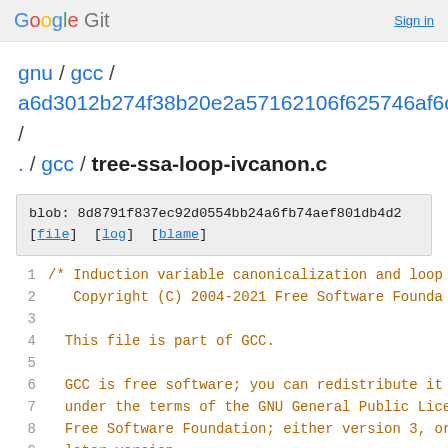Google Git  Sign in
gnu / gcc / a6d3012b274f38b20e2a57162106f625746af6c6 / . / gcc / tree-ssa-loop-ivcanon.c
blob: 8d8791f837ec92d0554bb24a6fb74aef801db4d2
[file] [log] [blame]
1  /* Induction variable canonicalization and loop
2      Copyright (C) 2004-2021 Free Software Founda
3
4  This file is part of GCC.
5
6  GCC is free software; you can redistribute it a
7  under the terms of the GNU General Public Licen
8  Free Software Foundation; either version 3, or
9  later version.
10